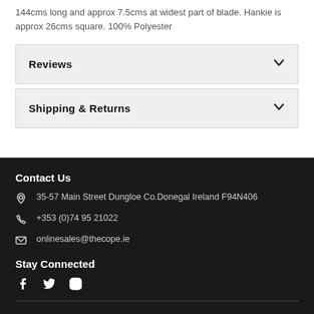144cms long and approx 7.5cms at widest part of blade. Hankie is approx 26cms square. 100% Polyester
Reviews
Shipping & Returns
Contact Us
35-57 Main Street Dungloe Co.Donegal Ireland F94N406
+353 (0)74 95 21022
onlinesales@thecope.ie
Stay Connected